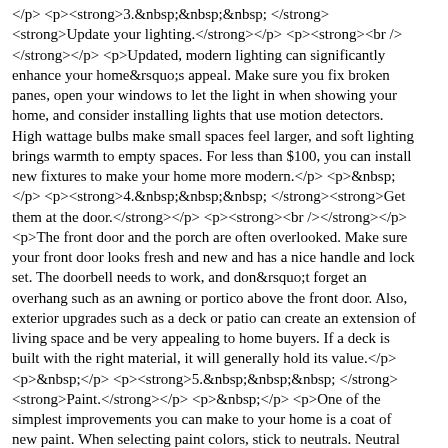</p> <p><strong>3.&nbsp;&nbsp;&nbsp; </strong><strong>Update your lighting.</strong></p> <p><strong><br /></strong></p> <p>Updated, modern lighting can significantly enhance your home&rsquo;s appeal. Make sure you fix broken panes, open your windows to let the light in when showing your home, and consider installing lights that use motion detectors. High wattage bulbs make small spaces feel larger, and soft lighting brings warmth to empty spaces. For less than $100, you can install new fixtures to make your home more modern.</p> <p>&nbsp;</p> <p><strong>4.&nbsp;&nbsp;&nbsp; </strong><strong>Get them at the door.</strong></p> <p><strong><br /></strong></p> <p>The front door and the porch are often overlooked. Make sure your front door looks fresh and new and has a nice handle and lock set. The doorbell needs to work, and don&rsquo;t forget an overhang such as an awning or portico above the front door. Also, exterior upgrades such as a deck or patio can create an extension of living space and be very appealing to home buyers. If a deck is built with the right material, it will generally hold its value.</p> <p>&nbsp;</p> <p><strong>5.&nbsp;&nbsp;&nbsp; </strong><strong>Paint.</strong></p> <p>&nbsp;</p> <p>One of the simplest improvements you can make to your home is a coat of new paint. When selecting paint colors, stick to neutrals. Neutral colors will make your home more desirable to more people. Paint is generally inexpensive.&nbsp;</p><p>Originally authored by Ashley Smith on Mar 25, 2015</p> Residential Mortgage